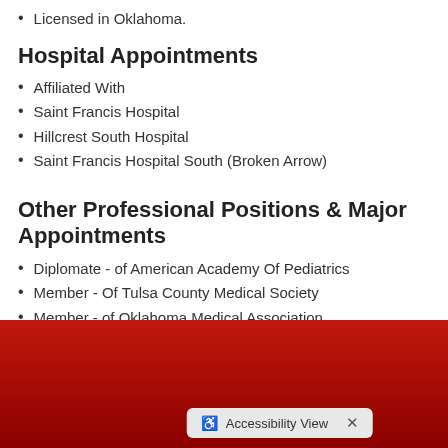Licensed in Oklahoma.
Hospital Appointments
Affiliated With
Saint Francis Hospital
Hillcrest South Hospital
Saint Francis Hospital South (Broken Arrow)
Other Professional Positions & Major Appointments
Diplomate - of American Academy Of Pediatrics
Member - Of Tulsa County Medical Society
Member - of Oklahoma Medical Association